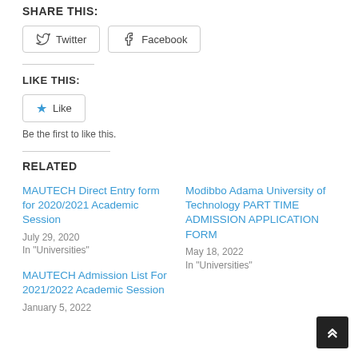SHARE THIS:
[Figure (other): Twitter and Facebook share buttons]
LIKE THIS:
[Figure (other): Like button with star icon]
Be the first to like this.
RELATED
MAUTECH Direct Entry form for 2020/2021 Academic Session
July 29, 2020
In "Universities"
Modibbo Adama University of Technology PART TIME ADMISSION APPLICATION FORM
May 18, 2022
In "Universities"
MAUTECH Admission List For 2021/2022 Academic Session
January 5, 2022